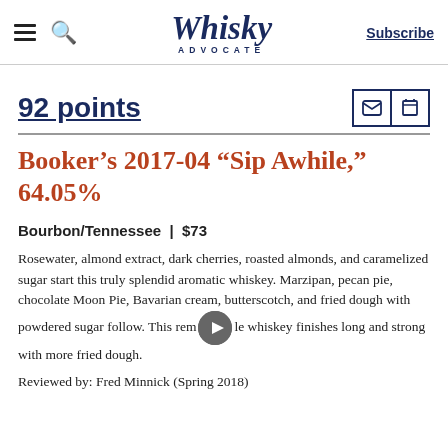Whisky Advocate
92 points
Booker’s 2017-04 “Sip Awhile,” 64.05%
Bourbon/Tennessee  |  $73
Rosewater, almond extract, dark cherries, roasted almonds, and caramelized sugar start this truly splendid aromatic whiskey. Marzipan, pecan pie, chocolate Moon Pie, Bavarian cream, butterscotch, and fried dough with powdered sugar follow. This remarkable whiskey finishes long and strong with more fried dough.
Reviewed by: Fred Minnick (Spring 2018)